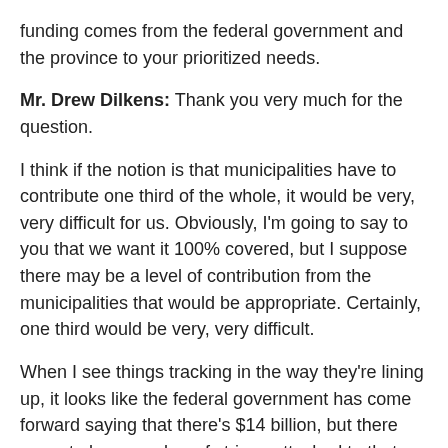funding comes from the federal government and the province to your prioritized needs.
Mr. Drew Dilkens: Thank you very much for the question.
I think if the notion is that municipalities have to contribute one third of the whole, it would be very, very difficult for us. Obviously, I'm going to say to you that we want it 100% covered, but I suppose there may be a level of contribution from the municipalities that would be appropriate. Certainly, one third would be very, very difficult.
When I see things tracking in the way they're lining up, it looks like the federal government has come forward saying that there's $14 billion, but there seem to be a number of strings attached to that, and certainly it doesn't seem to be getting a lot of traction at the provincial level in any province in terms of how that's going to cascade down to municipalities.
The Chair (Mr. Amarjot Sandhu): One minute.